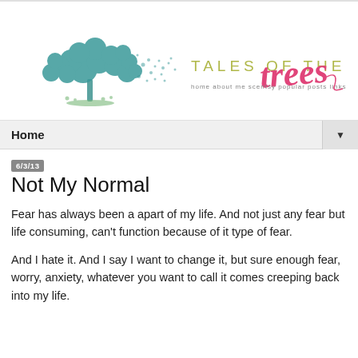[Figure (logo): Tales of the Trees blog logo with a teal illustrated tree on the left, 'TALES OF THE' in olive/yellow-green caps, 'trees' in large pink cursive script, and navigation links: home, about me, scentsy, popular posts, links, contact]
Home ▼
6/3/13
Not My Normal
Fear has always been a apart of my life. And not just any fear but life consuming, can't function because of it type of fear.
And I hate it. And I say I want to change it, but sure enough fear, worry, anxiety, whatever you want to call it comes creeping back into my life.